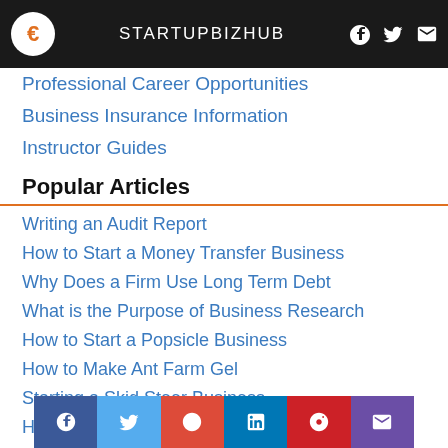STARTUPBIZHUB
Professional Career Opportunities
Business Insurance Information
Instructor Guides
Popular Articles
Writing an Audit Report
How to Start a Money Transfer Business
Why Does a Firm Use Long Term Debt
What is the Purpose of Business Research
How to Start a Popsicle Business
How to Make Ant Farm Gel
Starting a Skid Steer Business
How to Start a Biscuit Business
Starting a Smoothie Business